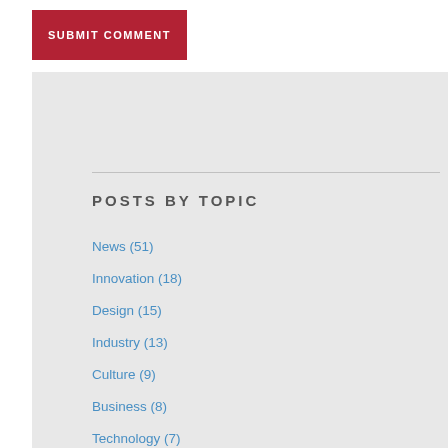SUBMIT COMMENT
POSTS BY TOPIC
News (51)
Innovation (18)
Design (15)
Industry (13)
Culture (9)
Business (8)
Technology (7)
D&Z (6)
Services (6)
Sustainability (5)
View All Topics